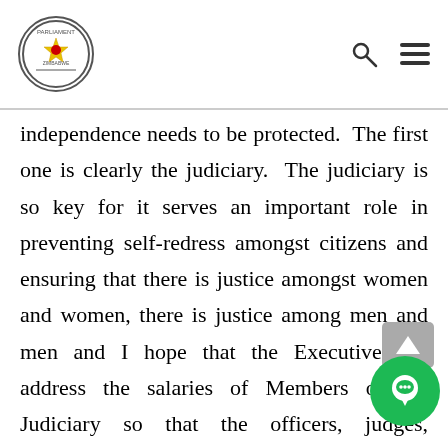Parliament of Zimbabwe logo with search and menu icons
independence needs to be protected. The first one is clearly the judiciary. The judiciary is so key for it serves an important role in preventing self-redress amongst citizens and ensuring that there is justice amongst women and women, there is justice among men and men and I hope that the Executive can address the salaries of Members of the Judiciary so that the officers, judges, magistrates and prosecutors can